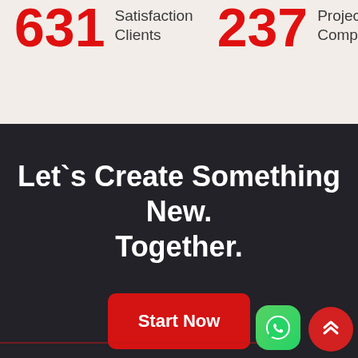631 Satisfaction Clients
237 Projects Complited
Let`s Create Something New. Together.
Start Now
[Figure (other): WhatsApp icon button (green rounded square with white phone handset logo)]
[Figure (other): Scroll-to-top button (red circle with white double chevron up arrows)]